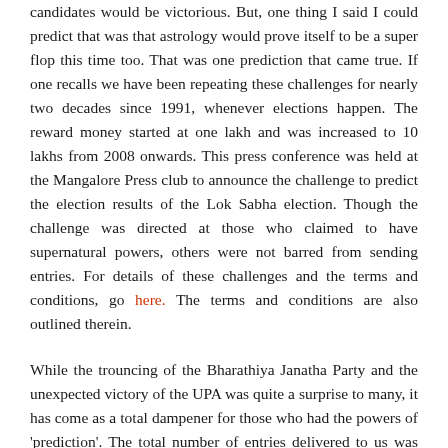candidates would be victorious. But, one thing I said I could predict that was that astrology would prove itself to be a super flop this time too. That was one prediction that came true. If one recalls we have been repeating these challenges for nearly two decades since 1991, whenever elections happen. The reward money started at one lakh and was increased to 10 lakhs from 2008 onwards. This press conference was held at the Mangalore Press club to announce the challenge to predict the election results of the Lok Sabha election. Though the challenge was directed at those who claimed to have supernatural powers, others were not barred from sending entries. For details of these challenges and the terms and conditions, go here. The terms and conditions are also outlined therein.
While the trouncing of the Bharathiya Janatha Party and the unexpected victory of the UPA was quite a surprise to many, it has come as a total dampener for those who had the powers of 'prediction'. The total number of entries delivered to us was 400, including the31 which were